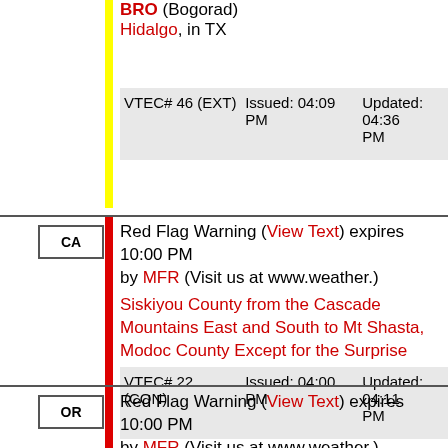BRO (Bogorad) Hidalgo, in TX
| VTEC# | Issued | Updated |
| --- | --- | --- |
| VTEC# 46 (EXT) | Issued: 04:09 PM | Updated: 04:36 PM |
Red Flag Warning (View Text) expires 10:00 PM by MFR (Visit us at www.weather.) Siskiyou County from the Cascade Mountains East and South to Mt Shasta, Modoc County Except for the Surprise Valley, in CA
| VTEC# | Issued | Updated |
| --- | --- | --- |
| VTEC# 22 (CON) | Issued: 04:00 PM | Updated: 04:11 PM |
Red Flag Warning (View Text) expires 10:00 PM by MFR (Visit us at www.weather.) Klamath Basin and the Fremont-Winema National Forest, in OR
| VTEC# | Issued | Updated |
| --- | --- | --- |
| VTEC# 22 (CON) | Issued: 04:00 PM | Updated: 04:11 PM |